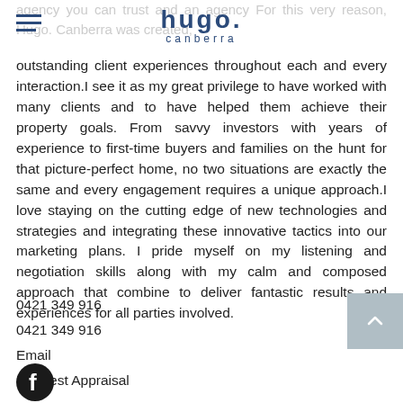hugo. canberra
agency you can trust and an agency For this very reason, Hugo. Canberra was created, continues to deliver outstanding client experiences throughout each and every interaction.I see it as my great privilege to have worked with many clients and to have helped them achieve their property goals. From savvy investors with years of experience to first-time buyers and families on the hunt for that picture-perfect home, no two situations are exactly the same and every engagement requires a unique approach.I love staying on the cutting edge of new technologies and strategies and integrating these innovative tactics into our marketing plans. I pride myself on my listening and negotiation skills along with my calm and composed approach that combine to deliver fantastic results and experiences for all parties involved.
0421 349 916
0421 349 916
Email
Request Appraisal